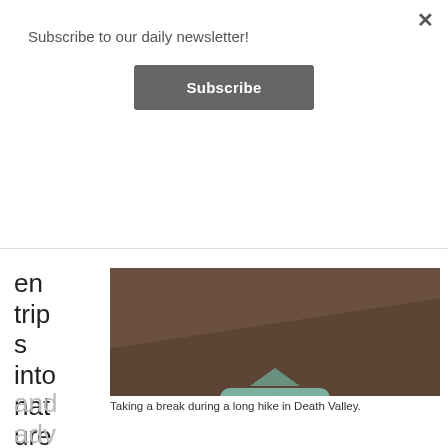Subscribe to our daily newsletter!
Subscribe
en trips into nature are about fun
[Figure (photo): Person sitting cross-legged on gravelly/sandy ground in Death Valley, wearing a light blue shirt and tan pants, leaning against an earthen slope.]
Taking a break during a long hike in Death Valley.
and adv